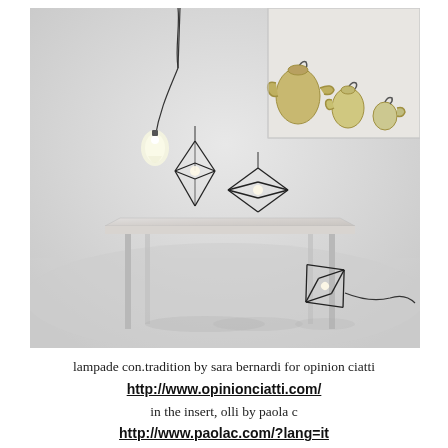[Figure (photo): Product photo showing geometric wire-frame diamond-shaped lamps (con.tradition by Sara Bernardi) on and around a minimalist metal-legged table with marble top, plus a hanging pendant lamp with a glowing bulb, all against a light grey background. A smaller inset photo in the upper right shows three metallic tea/coffee pots (olli by paola c) in gold/silver chrome finish.]
lampade con.tradition by sara bernardi for opinion ciatti
http://www.opinionciatti.com/
in the insert, olli by paola c
http://www.paolac.com/?lang=it